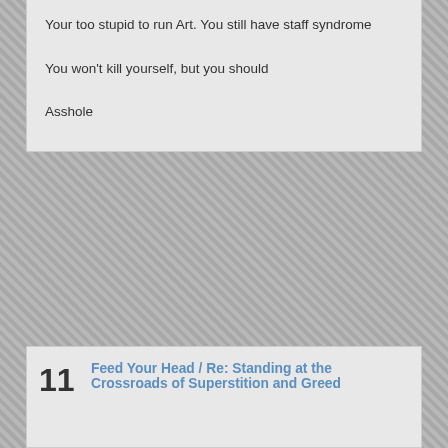Your too stupid to run Art. You still have staff syndrome

You won't kill yourself, but you should

Asshole
10  Open Free for All / Re: Bill Diamond, advocate for sexual abuse except at Elan
« on: March 09, 2013, 09:19:57 PM »
Your too stupid to run Art. You still have staff syndrome

You won't kill yourself, but you should

Asshole
11  Feed Your Head / Re: Standing at the Crossroads of Superstition and Greed